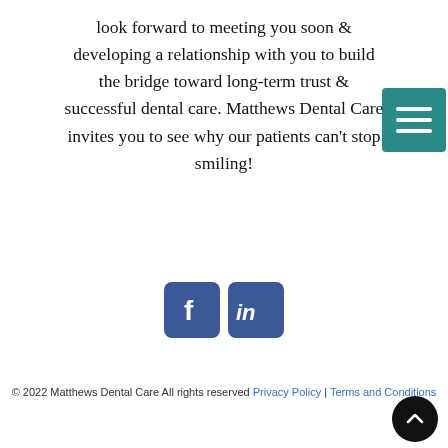look forward to meeting you soon & developing a relationship with you to build the bridge toward long-term trust & successful dental care. Matthews Dental Care invites you to see why our patients can't stop smiling!
[Figure (other): Facebook and LinkedIn social media icon buttons]
© 2022 Matthews Dental Care All rights reserved Privacy Policy | Terms and Conditions